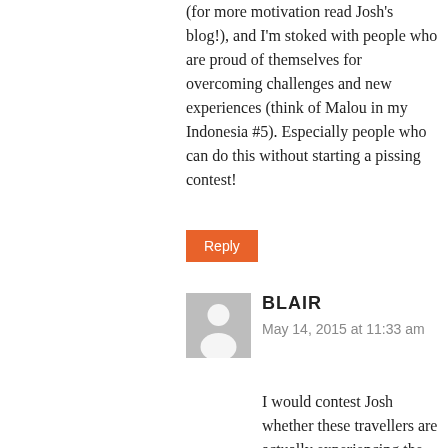(for more motivation read Josh's blog!), and I'm stoked with people who are proud of themselves for overcoming challenges and new experiences (think of Malou in my Indonesia #5). Especially people who can do this without starting a pissing contest!
Reply
[Figure (illustration): Generic user avatar placeholder: grey rectangle with white silhouette of a person]
BLAIR
May 14, 2015 at 11:33 am
I would contest Josh whether these travellers are actually experiencing the world. I think there is a world